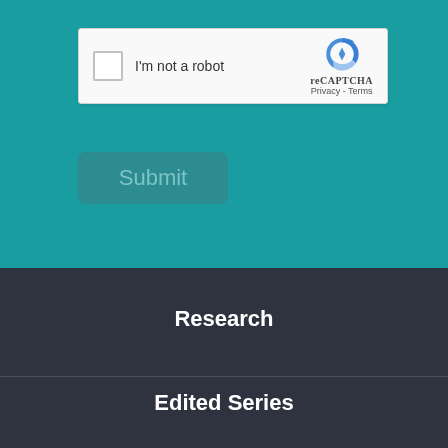[Figure (screenshot): reCAPTCHA widget with checkbox labeled 'I'm not a robot', Google reCAPTCHA logo, Privacy and Terms links]
Submit
Research
Edited Series